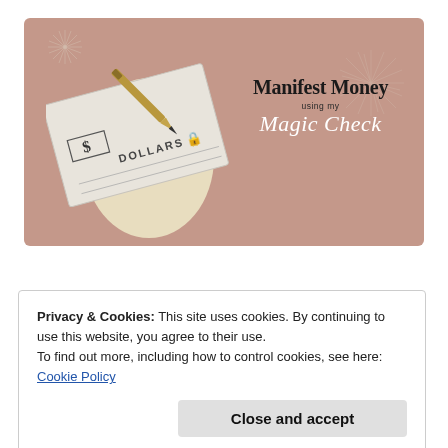[Figure (illustration): Promotional banner with mauve/rose background showing a photo of a bank check being signed with a gold pen, decorative cream oval shape, sparkle/starburst graphics, and text reading 'Manifest Money using my Magic Check']
Privacy & Cookies: This site uses cookies. By continuing to use this website, you agree to their use.
To find out more, including how to control cookies, see here:
Cookie Policy
Close and accept
My signature program will open enrollment soon,